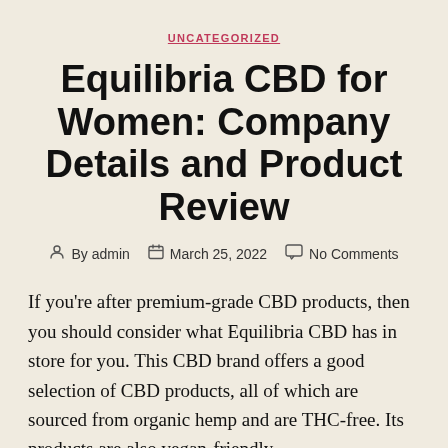UNCATEGORIZED
Equilibria CBD for Women: Company Details and Product Review
By admin   March 25, 2022   No Comments
If you're after premium-grade CBD products, then you should consider what Equilibria CBD has in store for you. This CBD brand offers a good selection of CBD products, all of which are sourced from organic hemp and are THC-free. Its products are also vegan-friendly